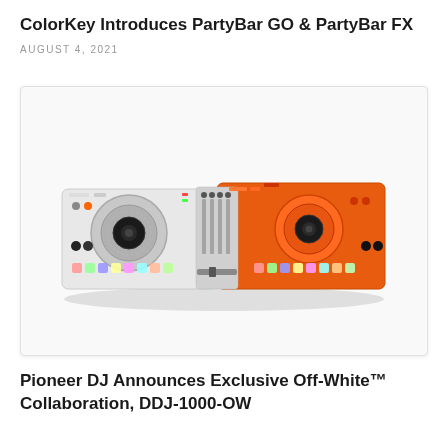ColorKey Introduces PartyBar GO & PartyBar FX
AUGUST 4, 2021
[Figure (photo): A DJ controller shown from a slight top-down perspective. The left half of the device is white/light grey with a large white jog wheel, colorful performance pads, and faders. The right half is bright orange with an orange jog wheel, orange performance pads and buttons. The controller has a central mixer section with multiple knobs and faders.]
Pioneer DJ Announces Exclusive Off-White™ Collaboration, DDJ-1000-OW